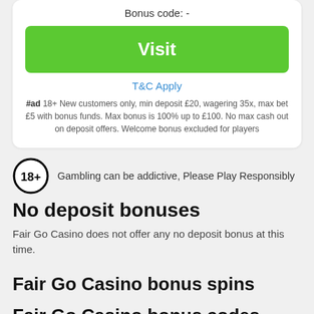Bonus code: -
Visit
T&C Apply
#ad 18+ New customers only, min deposit £20, wagering 35x, max bet £5 with bonus funds. Max bonus is 100% up to £100. No max cash out on deposit offers. Welcome bonus excluded for players
[Figure (infographic): 18+ circle badge with text: Gambling can be addictive, Please Play Responsibly]
No deposit bonuses
Fair Go Casino does not offer any no deposit bonus at this time.
Fair Go Casino bonus spins
Fair Go Casino bonus codes